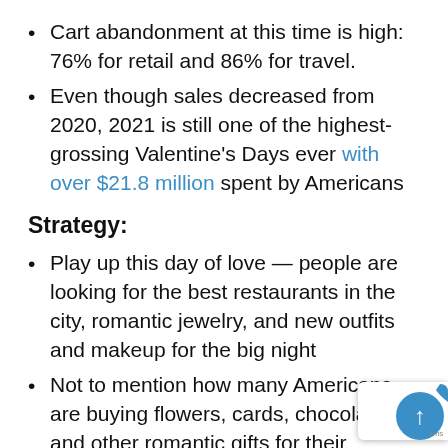Cart abandonment at this time is high: 76% for retail and 86% for travel.
Even though sales decreased from 2020, 2021 is still one of the highest-grossing Valentine’s Days ever with over $21.8 million spent by Americans
Strategy:
Play up this day of love — people are looking for the best restaurants in the city, romantic jewelry, and new outfits and makeup for the big night
Not to mention how many Americans are buying flowers, cards, chocolate, and other romantic gifts for their sweetheart
Design an ad for AdWords or Facebook